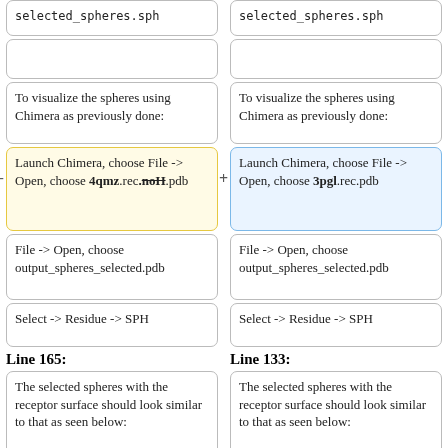selected_spheres.sph
selected_spheres.sph
To visualize the spheres using Chimera as previously done:
To visualize the spheres using Chimera as previously done:
Launch Chimera, choose File -> Open, choose 4qmz.rec.noH.pdb
Launch Chimera, choose File -> Open, choose 3pgl.rec.pdb
File -> Open, choose output_spheres_selected.pdb
File -> Open, choose output_spheres_selected.pdb
Select -> Residue -> SPH
Select -> Residue -> SPH
Line 165:
Line 133:
The selected spheres with the receptor surface should look similar to that as seen below:
The selected spheres with the receptor surface should look similar to that as seen below: